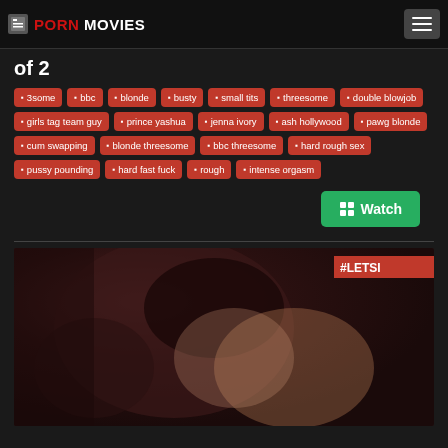PORN MOVIES
of 2
3some
bbc
blonde
busty
small tits
threesome
double blowjob
girls tag team guy
prince yashua
jenna ivory
ash hollywood
pawg blonde
cum swapping
blonde threesome
bbc threesome
hard rough sex
pussy pounding
hard fast fuck
rough
intense orgasm
[Figure (photo): Video thumbnail showing a person, with #LETSI watermark visible in top right corner]